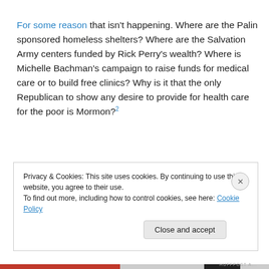For some reason that isn't happening. Where are the Palin sponsored homeless shelters? Where are the Salvation Army centers funded by Rick Perry's wealth? Where is Michelle Bachman's campaign to raise funds for medical care or to build free clinics? Why is it that the only Republican to show any desire to provide for health care for the poor is Mormon?²
Privacy & Cookies: This site uses cookies. By continuing to use this website, you agree to their use. To find out more, including how to control cookies, see here: Cookie Policy
Close and accept